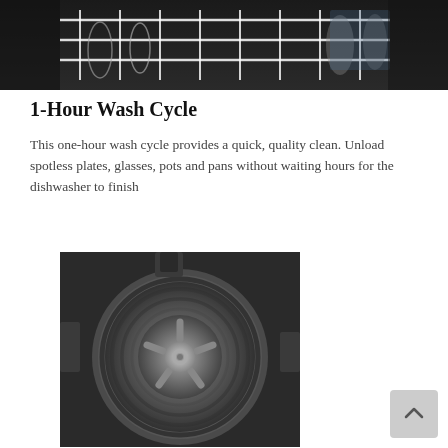[Figure (photo): Top partial view of dishwasher rack with glassware and utensils, black and white/dark tones]
1-Hour Wash Cycle
This one-hour wash cycle provides a quick, quality clean. Unload spotless plates, glasses, pots and pans without waiting hours for the dishwasher to finish
[Figure (photo): Close-up black and white photo of a dishwasher pump/motor assembly showing circular impeller blades]